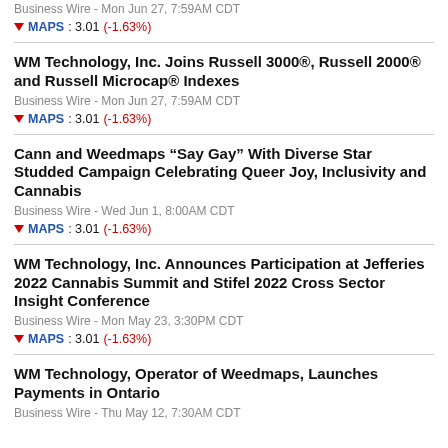WM Technology, Inc. Joins Russell 3000®, Russell 2000® and Russell Microcap® Indexes
Business Wire - Mon Jun 27, 7:59AM CDT
MAPS : 3.01 (-1.63%)
Cann and Weedmaps "Say Gay" With Diverse Star Studded Campaign Celebrating Queer Joy, Inclusivity and Cannabis
Business Wire - Wed Jun 1, 8:00AM CDT
MAPS : 3.01 (-1.63%)
WM Technology, Inc. Announces Participation at Jefferies 2022 Cannabis Summit and Stifel 2022 Cross Sector Insight Conference
Business Wire - Mon May 23, 3:30PM CDT
MAPS : 3.01 (-1.63%)
WM Technology, Operator of Weedmaps, Launches Payments in Ontario
Business Wire - Thu May 12, 7:30AM CDT